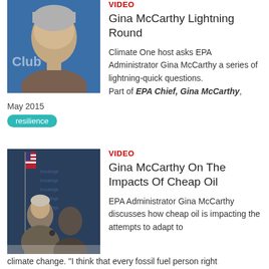[Figure (photo): Close-up photo of Gina McCarthy at a podium with a blue background and 'Club' text visible]
VIDEO
Gina McCarthy Lightning Round
Climate One host asks EPA Administrator Gina McCarthy a series of lightning-quick questions. Part of EPA Chief, Gina McCarthy,
May 2015
resilience
[Figure (photo): Photo of Gina McCarthy seated on stage at an event with US flag and blue branded backdrop]
VIDEO
Gina McCarthy On The Impacts Of Cheap Oil
EPA Administrator Gina McCarthy discusses how cheap oil is impacting the attempts to adapt to climate change. "I think that every fossil fuel person right